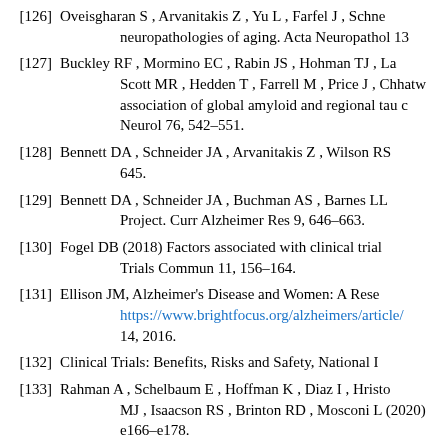[126] Oveisgharan S , Arvanitakis Z , Yu L , Farfel J , Schne... neuropathologies of aging. Acta Neuropathol 13...
[127] Buckley RF , Mormino EC , Rabin JS , Hohman TJ , La... Scott MR , Hedden T , Farrell M , Price J , Chhatw... association of global amyloid and regional tau c... Neurol 76, 542–551.
[128] Bennett DA , Schneider JA , Arvanitakis Z , Wilson RS... 645.
[129] Bennett DA , Schneider JA , Buchman AS , Barnes LL... Project. Curr Alzheimer Res 9, 646–663.
[130] Fogel DB (2018) Factors associated with clinical trial... Trials Commun 11, 156–164.
[131] Ellison JM, Alzheimer's Disease and Women: A Rese... https://www.brightfocus.org/alzheimers/article/... 14, 2016.
[132] Clinical Trials: Benefits, Risks and Safety, National I...
[133] Rahman A , Schelbaum E , Hoffman K , Diaz I , Hristo... MJ , Isaacson RS , Brinton RD , Mosconi L (2020)... e166–e178.